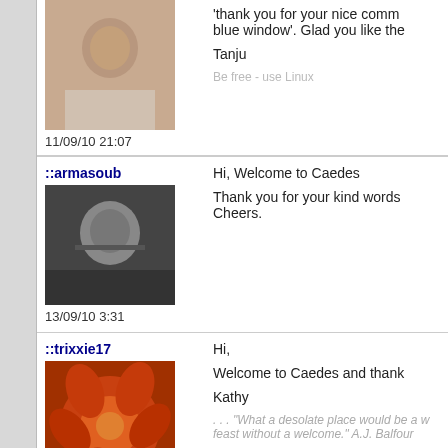Thank you for your nice comment on 'blue window'. Glad you like the
Tanju
11/09/10 21:07
Be free - use Linux
::armasoub
[Figure (photo): Black and white portrait photo of a person]
13/09/10 3:31
Hi, Welcome to Caedes

Thank you for your kind words
Cheers.
::trixxie17
[Figure (photo): Photo of an orange/red flower (dahlia)]
15/09/10 19:49
Hi,

Welcome to Caedes and thank

Kathy
. . . "What a desolate place would be a w feast without a welcome." A.J. Balfour
.anacris
[Figure (photo): Broken/missing image placeholder]
16/09/10 8:54
Thank you so much for comme